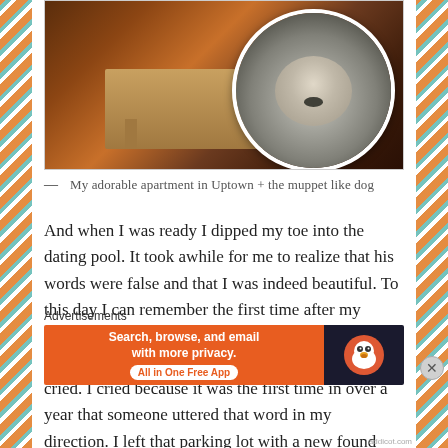[Figure (photo): Photo collage: left side shows an interior room with a wooden table (apartment in Uptown), right side overlays a circular cropped photo of a fluffy white muppet-like dog being held.]
— My adorable apartment in Uptown + the muppet like dog
And when I was ready I dipped my toe into the dating pool. It took awhile for me to realize that his words were false and that I was indeed beautiful. To this day I can remember the first time after my divorce a stranger told me that I was beautiful. It was in the uptown Green Mill parking lot and I cried. I cried because it was the first time in over a year that someone uttered that word in my direction. I left that parking lot with a new found confidence and
Advertisements
[Figure (screenshot): DuckDuckGo advertisement banner: orange left panel reads 'Search, browse, and email with more privacy. All in One Free App', dark right panel shows DuckDuckGo duck logo.]